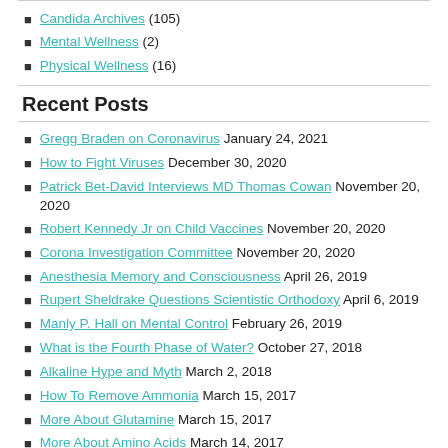Candida Archives (105)
Mental Wellness (2)
Physical Wellness (16)
Recent Posts
Gregg Braden on Coronavirus January 24, 2021
How to Fight Viruses December 30, 2020
Patrick Bet-David Interviews MD Thomas Cowan November 20, 2020
Robert Kennedy Jr on Child Vaccines November 20, 2020
Corona Investigation Committee November 20, 2020
Anesthesia Memory and Consciousness April 26, 2019
Rupert Sheldrake Questions Scientistic Orthodoxy April 6, 2019
Manly P. Hall on Mental Control February 26, 2019
What is the Fourth Phase of Water? October 27, 2018
Alkaline Hype and Myth March 2, 2018
How To Remove Ammonia March 15, 2017
More About Glutamine March 15, 2017
More About Amino Acids March 14, 2017
About Amino Acids March 14, 2017